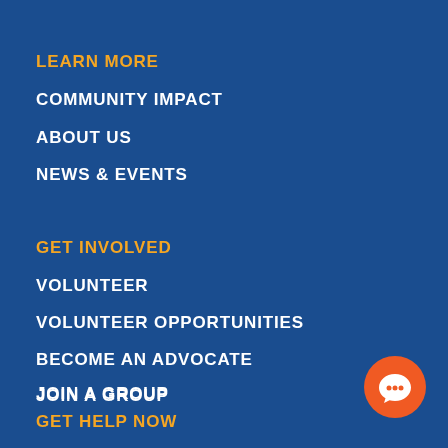LEARN MORE
COMMUNITY IMPACT
ABOUT US
NEWS & EVENTS
GET INVOLVED
VOLUNTEER
VOLUNTEER OPPORTUNITIES
BECOME AN ADVOCATE
JOIN A GROUP
CORPORATE PARTNERS
GET HELP NOW
[Figure (illustration): Orange circular chat button with speech bubble icon, positioned bottom right]